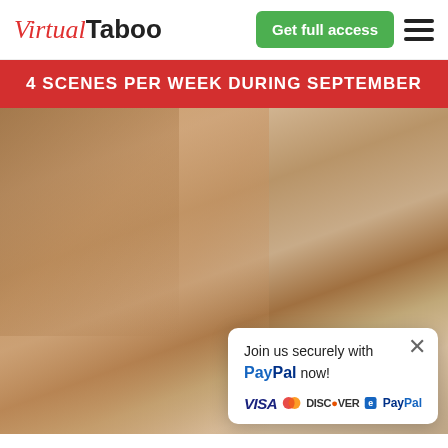Virtual Taboo
Get full access
4 SCENES PER WEEK DURING SEPTEMBER
[Figure (photo): Woman lying on bed, looking at camera]
Join us securely with PayPal now! VISA DISCOVER PayPal